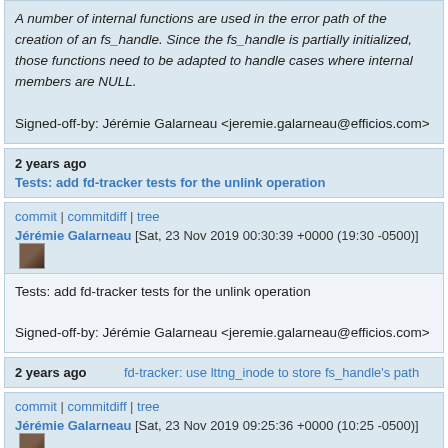A number of internal functions are used in the error path of the creation of an fs_handle. Since the fs_handle is partially initialized, those functions need to be adapted to handle cases where internal members are NULL.

Signed-off-by: Jérémie Galarneau <jeremie.galarneau@efficios.com>
2 years ago   Tests: add fd-tracker tests for the unlink operation
commit | commitdiff | tree
Jérémie Galarneau [Sat, 23 Nov 2019 00:30:39 +0000 (19:30 -0500)]
Tests: add fd-tracker tests for the unlink operation

Signed-off-by: Jérémie Galarneau <jeremie.galarneau@efficios.com>
2 years ago   fd-tracker: use lttng_inode to store fs_handle's path
commit | commitdiff | tree
Jérémie Galarneau [Sat, 23 Nov 2019 09:25:36 +0000 (10:25 -0500)]